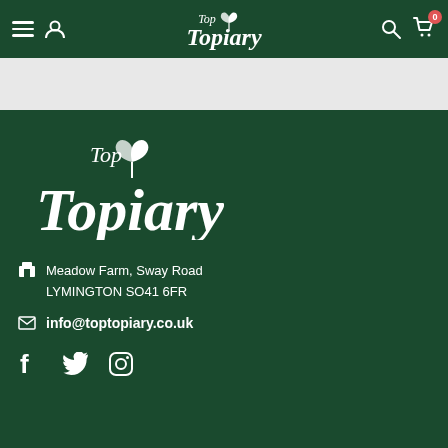Top Topiary — navigation header with hamburger menu, user icon, logo, search icon, and cart (0)
[Figure (screenshot): White/light grey strip below the header — blank space]
[Figure (logo): Top Topiary logo — white script text on dark green background, with leaf graphic]
Meadow Farm, Sway Road
LYMINGTON SO41 6FR
info@toptopiary.co.uk
[Figure (infographic): Social media icons: Facebook, Twitter, Instagram — white on dark green]